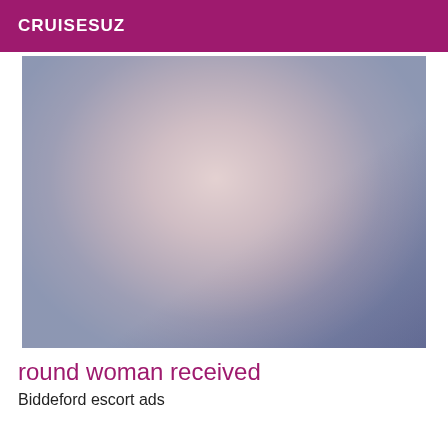CRUISESUZ
[Figure (photo): Close-up photo of a woman with dark hair wearing earrings and a necklace with a large pendant, smiling, with a blue background]
round woman received
Biddeford escort ads